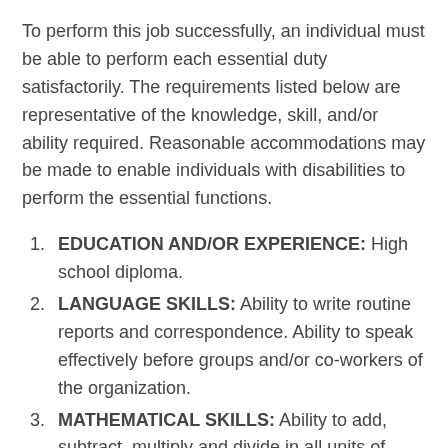To perform this job successfully, an individual must be able to perform each essential duty satisfactorily. The requirements listed below are representative of the knowledge, skill, and/or ability required. Reasonable accommodations may be made to enable individuals with disabilities to perform the essential functions.
EDUCATION AND/OR EXPERIENCE: High school diploma.
LANGUAGE SKILLS: Ability to write routine reports and correspondence. Ability to speak effectively before groups and/or co-workers of the organization.
MATHEMATICAL SKILLS: Ability to add, subtract, multiply and divide in all units of measure, using whole numbers, common fractions, and decimals.